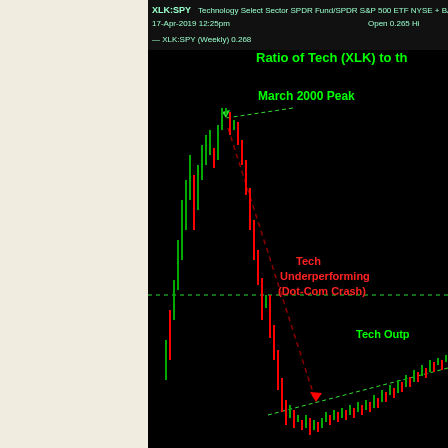[Figure (continuous-plot): XLK:SPY weekly ratio chart showing Technology Select Sector SPDR Fund vs S&P 500 ETF from late 1990s to 2019. Chart shows March 2000 Peak with annotation, followed by sharp decline labeled 'Tech Underperforming (Dot-Com Crash)' with dark red dashed downtrend line, then a long bottom and recovery phase labeled 'Tech Outp...' (outperforming). A horizontal dashed green line marks a support level. Chart header shows XLK:SPY Technology Select Sector SPDR Fund/SPDR S&P 500 ETF NYSE + BATS, dated 17-Apr-2019 12:25pm, Open 0.265.]